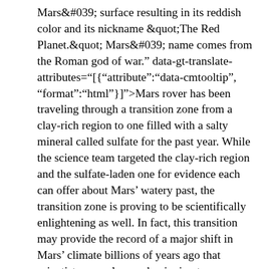Mars&#039; surface resulting in its reddish color and its nickname &quot;The Red Planet.&quot; Mars&#039; name comes from the Roman god of war.” data-gt-translate-attributes="[{“attribute”:”data-cmtooltip”, “format”:”html”}]">Mars rover has been traveling through a transition zone from a clay-rich region to one filled with a salty mineral called sulfate for the past year. While the science team targeted the clay-rich region and the sulfate-laden one for evidence each can offer about Mars’ watery past, the transition zone is proving to be scientifically enlightening as well. In fact, this transition may provide the record of a major shift in Mars’ climate billions of years ago that scientists are only now beginning to grasp.